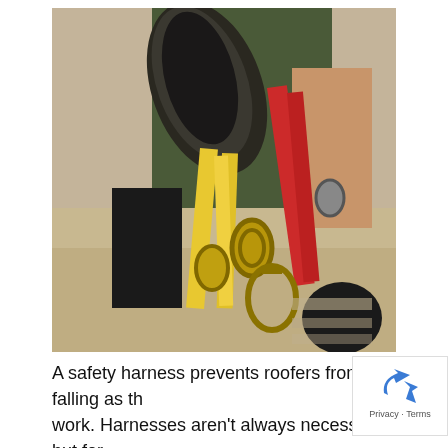[Figure (photo): Close-up photograph of a worker wearing a safety harness with yellow and red straps, carabiners and D-rings attached, carrying coiled ropes over one shoulder. The worker is wearing black gloves and a green shirt. The background shows a sandy/concrete ground surface.]
A safety harness prevents roofers from falling as th work. Harnesses aren't always necessary, but for